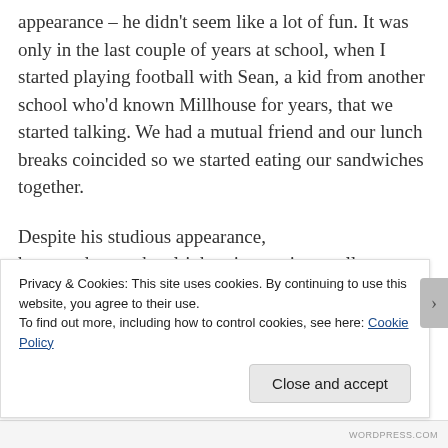appearance – he didn't seem like a lot of fun. It was only in the last couple of years at school, when I started playing football with Sean, a kid from another school who'd known Millhouse for years, that we started talking. We had a mutual friend and our lunch breaks coincided so we started eating our sandwiches together.
Despite his studious appearance, he turned out to be alright – interesting, well-informed and pretty funny. This was in the
Privacy & Cookies: This site uses cookies. By continuing to use this website, you agree to their use.
To find out more, including how to control cookies, see here: Cookie Policy
Close and accept